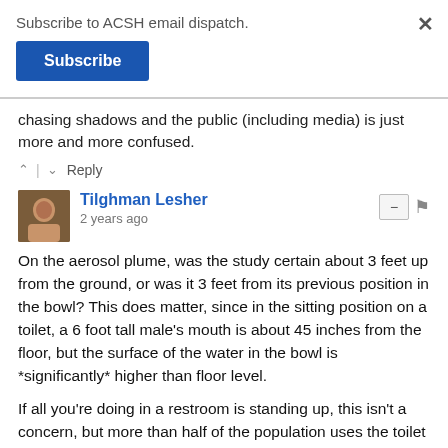Subscribe to ACSH email dispatch.
Subscribe
chasing shadows and the public (including media) is just more and more confused.
^ | v   Reply
Tilghman Lesher
2 years ago
On the aerosol plume, was the study certain about 3 feet up from the ground, or was it 3 feet from its previous position in the bowl? This does matter, since in the sitting position on a toilet, a 6 foot tall male's mouth is about 45 inches from the floor, but the surface of the water in the bowl is *significantly* higher than floor level.

If all you're doing in a restroom is standing up, this isn't a concern, but more than half of the population uses the toilet in the sitting position.